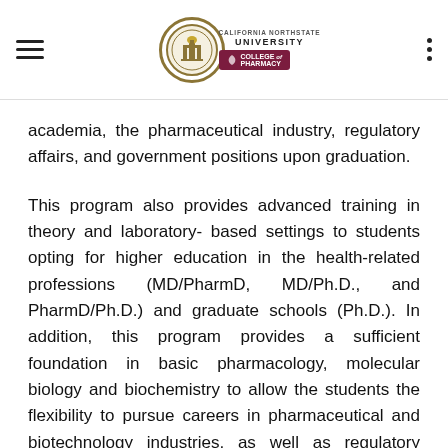California Northstate University College of Pharmacy
academia, the pharmaceutical industry, regulatory affairs, and government positions upon graduation.
This program also provides advanced training in theory and laboratory- based settings to students opting for higher education in the health-related professions (MD/PharmD, MD/Ph.D., and PharmD/Ph.D.) and graduate schools (Ph.D.). In addition, this program provides a sufficient foundation in basic pharmacology, molecular biology and biochemistry to allow the students the flexibility to pursue careers in pharmaceutical and biotechnology industries, as well as regulatory affairs.